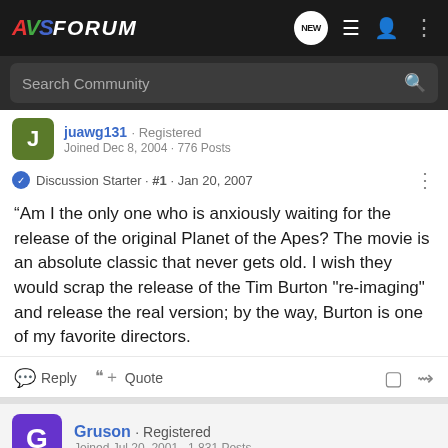AVSForum
Search Community
juawg131 · Registered
Joined Dec 8, 2004 · 776 Posts
Discussion Starter · #1 · Jan 20, 2007
“Am I the only one who is anxiously waiting for the release of the original Planet of the Apes? The movie is an absolute classic that never gets old. I wish they would scrap the release of the Tim Burton "re-imaging" and release the real version; by the way, Burton is one of my favorite directors.
Reply   Quote
Gruson · Registered
Joined Jul 20, 2001 · 1,831 Posts